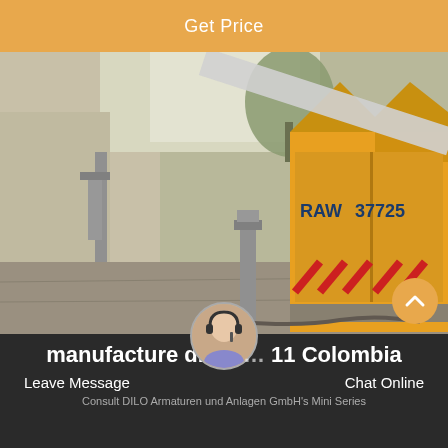Get Price
[Figure (photo): Outdoor industrial scene showing a yellow truck with markings 'RAW 37725' backed up to a loading area near a building wall, with pipes and equipment visible, and trees in the background.]
manufacture dilo b… 11 Colombia
Leave Message
Chat Online
Consult DILO Armaturen und Anlagen GmbH's Mini Series